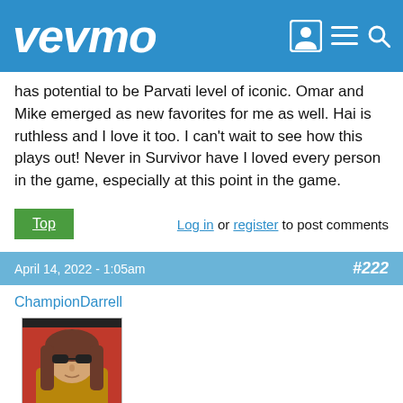vevmo
has potential to be Parvati level of iconic. Omar and Mike emerged as new favorites for me as well. Hai is ruthless and I love it too. I can't wait to see how this plays out! Never in Survivor have I loved every person in the game, especially at this point in the game.
Top   Log in or register to post comments
April 14, 2022 - 1:05am   #222
ChampionDarrell
[Figure (photo): Profile avatar photo of a person wearing sunglasses, with reddish background]
watching this now